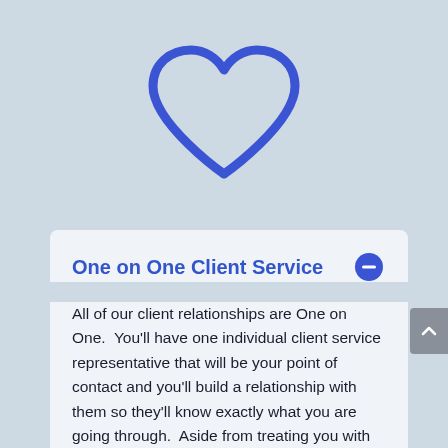[Figure (illustration): Blue outline heart icon centered near the top of the page on a light blue background]
One on One Client Service
All of our client relationships are One on One.  You'll have one individual client service representative that will be your point of contact and you'll build a relationship with them so they'll know exactly what you are going through.  Aside from treating you with the upmost care possible, this means you won't have to deal with multiple people and re-